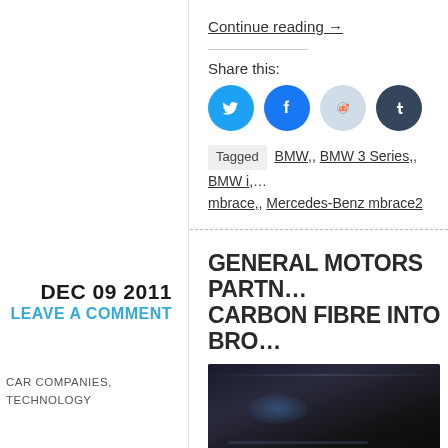Continue reading →
Share this:
[Figure (infographic): Social sharing icons: Twitter (blue), Facebook (dark blue), Reddit (light blue/grey), Tumblr (dark navy)]
Tagged  BMW, BMW 3 Series, BMW i... mbrace, Mercedes-Benz mbrace2
DEC 09 2011
LEAVE A COMMENT
CAR COMPANIES, TECHNOLOGY
GENERAL MOTORS PARTN... CARBON FIBRE INTO BRO...
[Figure (photo): Dark car interior photo, showing dashboard and door panel with blue ambient lighting highlights]